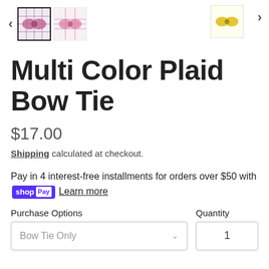[Figure (photo): Product thumbnail images of Multi Color Plaid Bow Tie, shown in a horizontal row with navigation arrows. Three thumbnails visible: selected plaid bow tie, pink bow tie, yellow/green bow tie.]
Multi Color Plaid Bow Tie
$17.00
Shipping calculated at checkout.
Pay in 4 interest-free installments for orders over $50 with shop Pay Learn more
Purchase Options
Quantity
Bow Tie Only
1